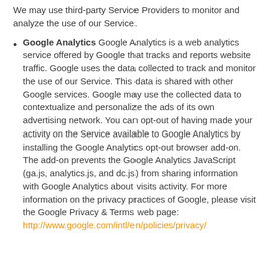We may use third-party Service Providers to monitor and analyze the use of our Service.
Google Analytics Google Analytics is a web analytics service offered by Google that tracks and reports website traffic. Google uses the data collected to track and monitor the use of our Service. This data is shared with other Google services. Google may use the collected data to contextualize and personalize the ads of its own advertising network. You can opt-out of having made your activity on the Service available to Google Analytics by installing the Google Analytics opt-out browser add-on. The add-on prevents the Google Analytics JavaScript (ga.js, analytics.js, and dc.js) from sharing information with Google Analytics about visits activity. For more information on the privacy practices of Google, please visit the Google Privacy & Terms web page: http://www.google.com/intl/en/policies/privacy/